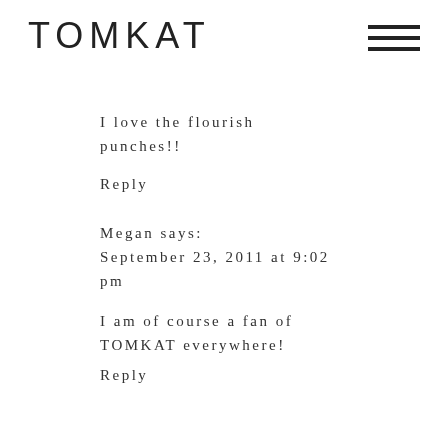TOMKAT
I love the flourish punches!!
Reply
Megan says:
September 23, 2011 at 9:02 pm
I am of course a fan of TOMKAT everywhere!
Reply